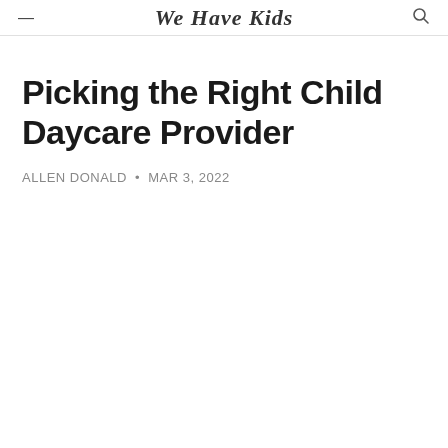We Have Kids
Picking the Right Child Daycare Provider
ALLEN DONALD • MAR 3, 2022